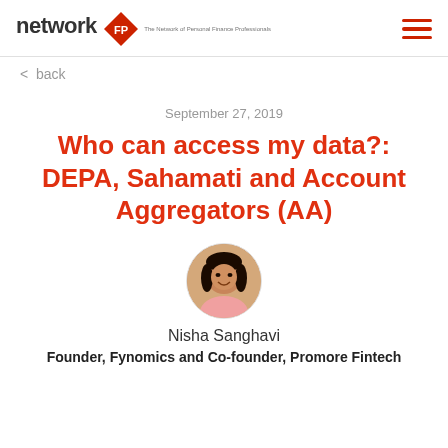networkFP — The Network of Personal Finance Professionals
< back
September 27, 2019
Who can access my data?: DEPA, Sahamati and Account Aggregators (AA)
[Figure (photo): Circular headshot of Nisha Sanghavi, a woman with dark hair, smiling, wearing a pink outfit]
Nisha Sanghavi
Founder, Fynomics and Co-founder, Promore Fintech